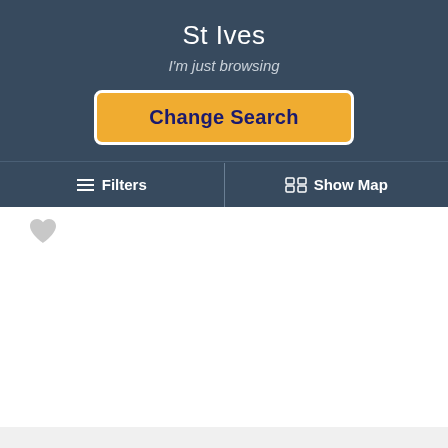St Ives
I'm just browsing
Change Search
≡  Filters
Show Map
[Figure (illustration): Heart/favorite icon (grey) and a large white content area representing a listing image placeholder]
Tregenna Self Catering